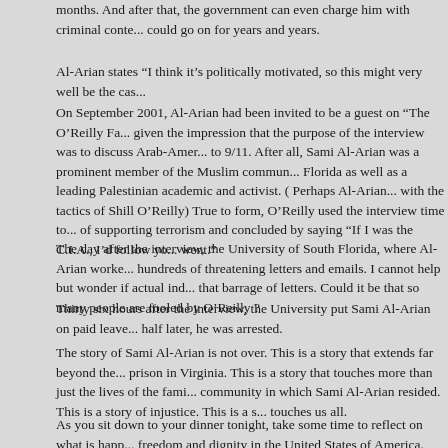months. And after that, the government can even charge him with criminal conte... could go on for years and years.
Al-Arian states “I think it’s politically motivated, so this might very well be the cas...
On September 2001, Al-Arian had been invited to be a guest on “The O’Reilly Fa... given the impression that the purpose of the interview was to discuss Arab-Amer... to 9/11. After all, Sami Al-Arian was a prominent member of the Muslim commun... Florida as well as a leading Palestinian academic and activist. ( Perhaps Al-Arian... with the tactics of Shill O’Reilly) True to form, O’Reilly used the interview time to... of supporting terrorism and concluded by saying “If I was the C.I.A., I’d follow yo... went.”
The day after the interview, the University of South Florida, where Al-Arian worke... hundreds of threatening letters and emails. I cannot help but wonder if actual ind... that barrage of letters. Could it be that so many people are fooled by O’Reilly ?
Thirty six hours after the interview, the University put Sami Al-Arian on paid leave... half later, he was arrested.
The story of Sami Al-Arian is not over. This is a story that extends far beyond the... prison in Virginia. This is a story that touches more than just the lives of the fami... community in which Sami Al-Arian resided. This is a story of injustice. This is a s... touches us all.
As you sit down to your dinner tonight, take some time to reflect on what is happ... freedom and dignity in the United States of America.